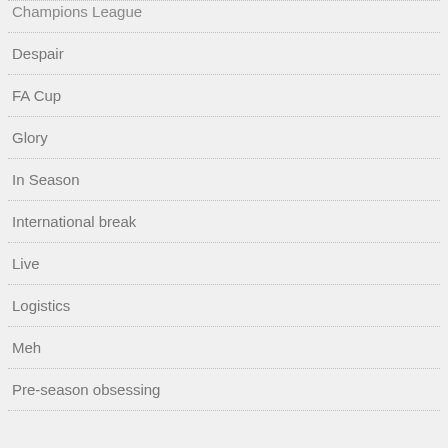Champions League
Despair
FA Cup
Glory
In Season
International break
Live
Logistics
Meh
Pre-season obsessing